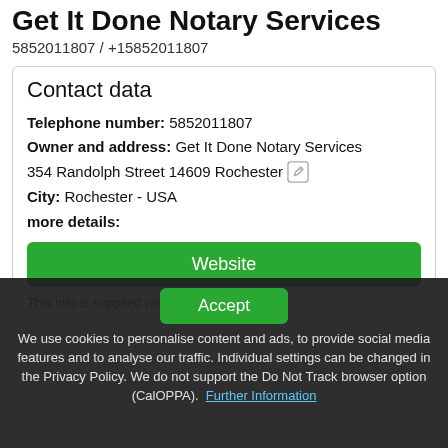Get It Done Notary Services
5852011807 / +15852011807
Contact data
Telephone number: 5852011807
Owner and address: Get It Done Notary Services
354 Randolph Street 14609 Rochester
City: Rochester - USA
more details:
Website
This info is supplied without liability.
Accept
We use cookies to personalise content and ads, to provide social media features and to analyse our traffic. Individual settings can be changed in the Privacy Policy. We do not support the Do Not Track browser option (CalOPPA). Further Information